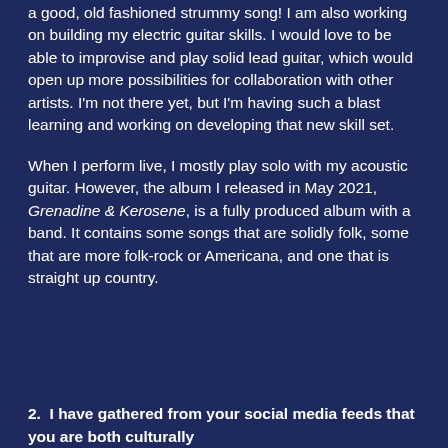a good, old fashioned strummy song! I am also working on building my electric guitar skills. I would love to be able to improvise and play solid lead guitar, which would open up more possibilities for collaboration with other artists. I'm not there yet, but I'm having such a blast learning and working on developing that new skill set.
When I perform live, I mostly play solo with my acoustic guitar. However, the album I released in May 2021, Grenadine & Kerosene, is a fully produced album with a band. It contains some songs that are solidly folk, some that are more folk-rock or Americana, and one that is straight up country.
2.  I have gathered from your social media feeds that you are both culturally